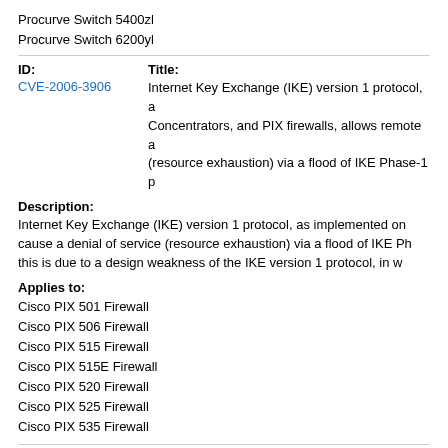Procurve Switch 5400zl
Procurve Switch 6200yl
| ID: | Title: |
| --- | --- |
| CVE-2006-3906 | Internet Key Exchange (IKE) version 1 protocol, a Concentrators, and PIX firewalls, allows remote a (resource exhaustion) via a flood of IKE Phase-1 p |
Description:
Internet Key Exchange (IKE) version 1 protocol, as implemented on cause a denial of service (resource exhaustion) via a flood of IKE Ph this is due to a design weakness of the IKE version 1 protocol, in w
Applies to:
Cisco PIX 501 Firewall
Cisco PIX 506 Firewall
Cisco PIX 515 Firewall
Cisco PIX 515E Firewall
Cisco PIX 520 Firewall
Cisco PIX 525 Firewall
Cisco PIX 535 Firewall
| ID: | Title: |
| --- | --- |
| CVE-2006-3687 | Stack-based buffer overflow in the Universal Plu |